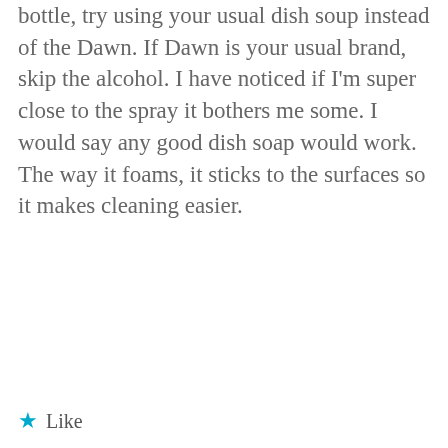bottle, try using your usual dish soap instead of the Dawn. If Dawn is your usual brand, skip the alcohol. I have noticed if I'm super close to the spray it bothers me some. I would say any good dish soap would work. The way it foams, it sticks to the surfaces so it makes cleaning easier.
★ Like
Reply
Advertisements
The Platform Where...
Privacy & Cookies: This site uses cookies. By continuing to use this website, you agree to their use.
To find out more, including how to control cookies, see here:
Cookie Policy
Close and accept